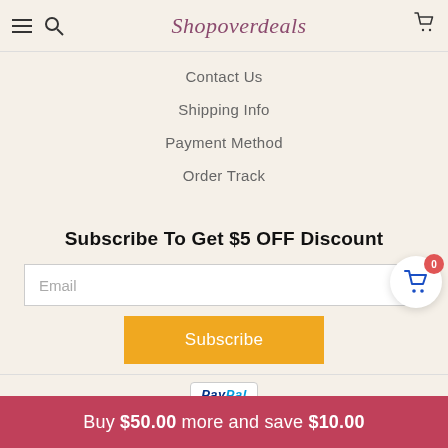Shopoverdeals
Contact Us
Shipping Info
Payment Method
Order Track
Subscribe To Get $5 OFF Discount
Email
Subscribe
[Figure (logo): PayPal logo badge]
Shopoverdeals 2022
Buy $50.00 more and save $10.00